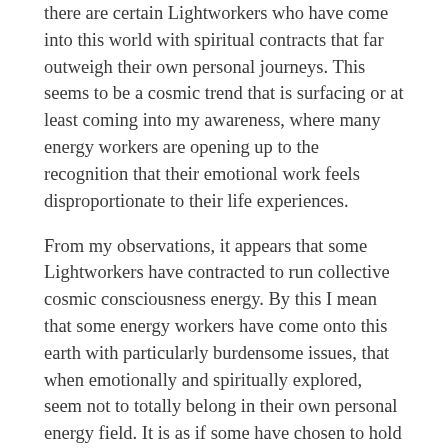there are certain Lightworkers who have come into this world with spiritual contracts that far outweigh their own personal journeys. This seems to be a cosmic trend that is surfacing or at least coming into my awareness, where many energy workers are opening up to the recognition that their emotional work feels disproportionate to their life experiences.
From my observations, it appears that some Lightworkers have contracted to run collective cosmic consciousness energy. By this I mean that some energy workers have come onto this earth with particularly burdensome issues, that when emotionally and spiritually explored, seem not to totally belong in their own personal energy field. It is as if some have chosen to hold the frequency of a specific emotion or energy here on earth for a collective energy created by others' thoughts and feelings. Let's take for instance abandonment. For all her life, let's say a Lightworker might have been dealing with issues of